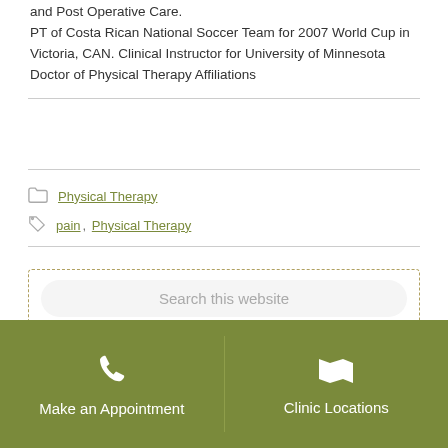and Post Operative Care. PT of Costa Rican National Soccer Team for 2007 World Cup in Victoria, CAN. Clinical Instructor for University of Minnesota Doctor of Physical Therapy Affiliations
Physical Therapy
pain, Physical Therapy
Search this website
Make an Appointment
Clinic Locations